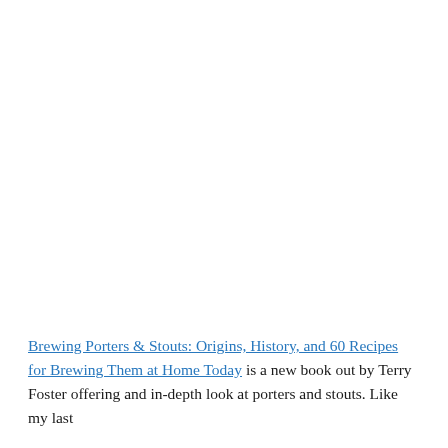Brewing Porters & Stouts: Origins, History, and 60 Recipes for Brewing Them at Home Today is a new book out by Terry Foster offering and in-depth look at porters and stouts. Like my last